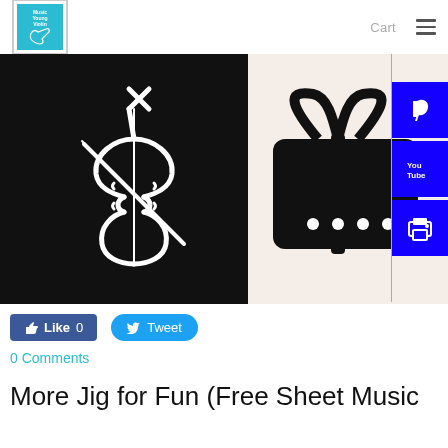Cart ≡
[Figure (illustration): Hero banner showing two images side by side: left is a black background with white violin/fiddle line art icon; right is a light pinkish background with a black gift card icon showing a bow and dots. Social media buttons (Pinterest, YouTube, Print) are overlaid on the right side.]
Like 0   Tweet
0 Comments
More Jig for Fun (Free Sheet Music